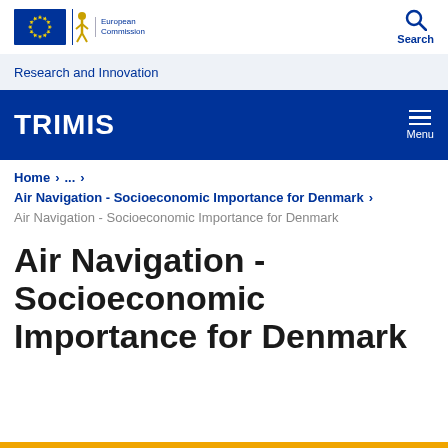[Figure (logo): European Commission logo with EU stars emblem and text 'European Commission']
[Figure (other): Search icon (magnifying glass) with label 'Search']
Research and Innovation
TRIMIS
Home > ... > Air Navigation - Socioeconomic Importance for Denmark > Air Navigation - Socioeconomic Importance for Denmark
Air Navigation - Socioeconomic Importance for Denmark